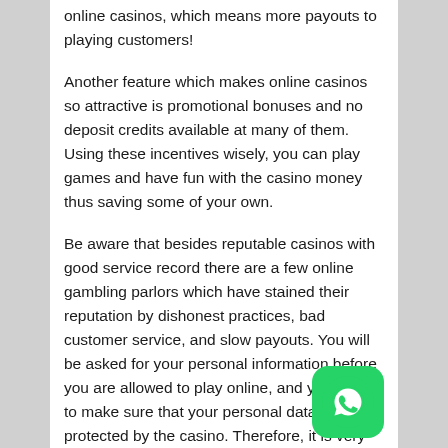online casinos, which means more payouts to playing customers!
Another feature which makes online casinos so attractive is promotional bonuses and no deposit credits available at many of them. Using these incentives wisely, you can play games and have fun with the casino money thus saving some of your own.
Be aware that besides reputable casinos with good service record there are a few online gambling parlors which have stained their reputation by dishonest practices, bad customer service, and slow payouts. You will be asked for your personal information before you are allowed to play online, and you want to make sure that your personal data is protected by the casino. Therefore, it is very important first to read online independent gambling guides to casinos to find out the players' favorites, trusted and well-known casino sites. Secondly, read carefully the casino's rules and policies. Third, try the casino for free before you start wagering your own money. Fourth, make